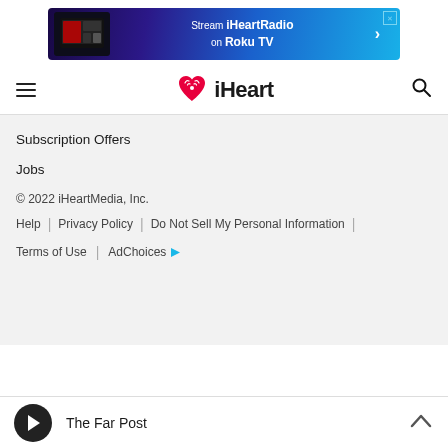[Figure (screenshot): Advertisement banner: Stream iHeartRadio on Roku TV]
iHeart navigation bar with hamburger menu and search icon
Subscription Offers
Jobs
© 2022 iHeartMedia, Inc.
Help | Privacy Policy | Do Not Sell My Personal Information | Terms of Use | AdChoices
The Far Post